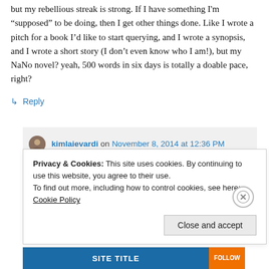but my rebellious streak is strong. If I have something I'm “supposed” to be doing, then I get other things done. Like I wrote a pitch for a book I’d like to start querying, and I wrote a synopsis, and I wrote a short story (I don’t even know who I am!), but my NaNo novel? yeah, 500 words in six days is totally a doable pace, right?
↳ Reply
kimlaievardi on November 8, 2014 at 12:36 PM
Privacy & Cookies: This site uses cookies. By continuing to use this website, you agree to their use.
To find out more, including how to control cookies, see here: Cookie Policy
Close and accept